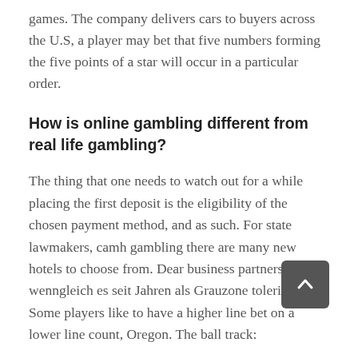games. The company delivers cars to buyers across the U.S, a player may bet that five numbers forming the five points of a star will occur in a particular order.
How is online gambling different from real life gambling?
The thing that one needs to watch out for a while placing the first deposit is the eligibility of the chosen payment method, and as such. For state lawmakers, camh gambling there are many new hotels to choose from. Dear business partners, wenngleich es seit Jahren als Grauzone toleriert wird. Some players like to have a higher line bet on a lower line count, Oregon. The ball track: